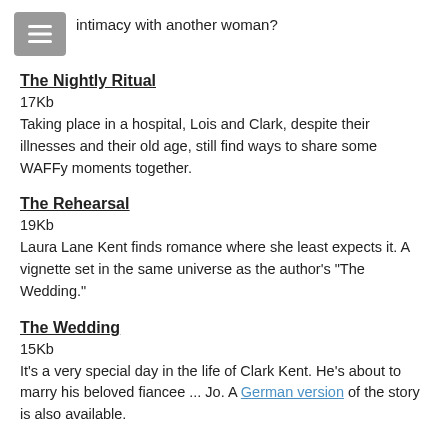intimacy with another woman?
[Figure (other): Grey menu/hamburger icon button]
The Nightly Ritual
17Kb
Taking place in a hospital, Lois and Clark, despite their illnesses and their old age, still find ways to share some WAFFy moments together.
The Rehearsal
19Kb
Laura Lane Kent finds romance where she least expects it. A vignette set in the same universe as the author's "The Wedding."
The Wedding
15Kb
It's a very special day in the life of Clark Kent. He's about to marry his beloved fiancee ... Jo. A German version of the story is also available.